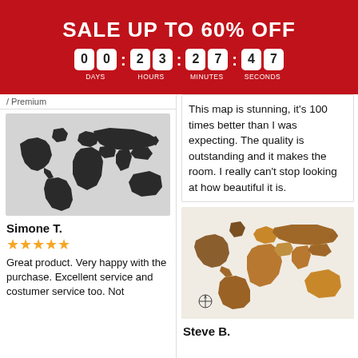SALE UP TO 60% OFF
00 : 23 : 27 : 47 — DAYS HOURS MINUTES SECONDS
/ Premium
[Figure (photo): Black world map silhouette on light gray background]
Simone T.
★★★★★
Great product. Very happy with the purchase. Excellent service and costumer service too. Not
This map is stunning, it's 100 times better than I was expecting. The quality is outstanding and it makes the room. I really can't stop looking at how beautiful it is.
[Figure (photo): Wooden world map wall art in brown/amber tones on white background]
Steve B.